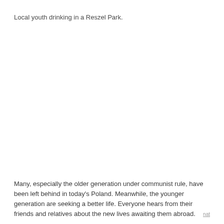Local youth drinking in a Reszel Park.
Many, especially the older generation under communist rule, have been left behind in today's Poland. Meanwhile, the younger generation are seeking a better life. Everyone hears from their friends and relatives about the new lives awaiting them abroad.
nat